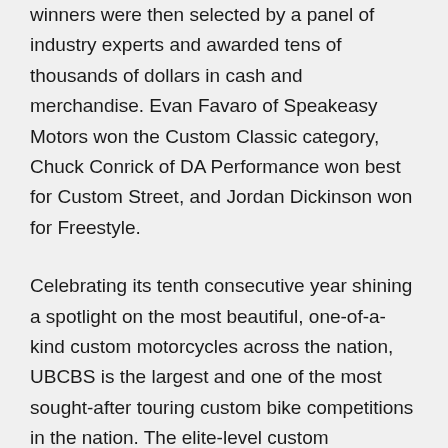winners were then selected by a panel of industry experts and awarded tens of thousands of dollars in cash and merchandise. Evan Favaro of Speakeasy Motors won the Custom Classic category, Chuck Conrick of DA Performance won best for Custom Street, and Jordan Dickinson won for Freestyle.
Celebrating its tenth consecutive year shining a spotlight on the most beautiful, one-of-a-kind custom motorcycles across the nation, UBCBS is the largest and one of the most sought-after touring custom bike competitions in the nation. The elite-level custom motorcycle builder competition features hundreds of intricately built custom motorcycles across the eight-city IMS tour. The UBCBS is sponsored by J&P Cycles, the world's largest aftermarket motorcycle parts and